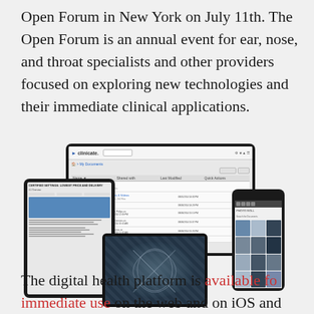Open Forum in New York on July 11th. The Open Forum is an annual event for ear, nose, and throat specialists and other providers focused on exploring new technologies and their immediate clinical applications.
[Figure (screenshot): Clinicate digital health platform shown on multiple devices: desktop monitor displaying My Documents file management interface, a tablet showing a document viewer, a horizontal tablet showing a medical/anatomical image, and a smartphone showing a photo grid.]
The digital health platform is available for immediate use on the web and on iOS and